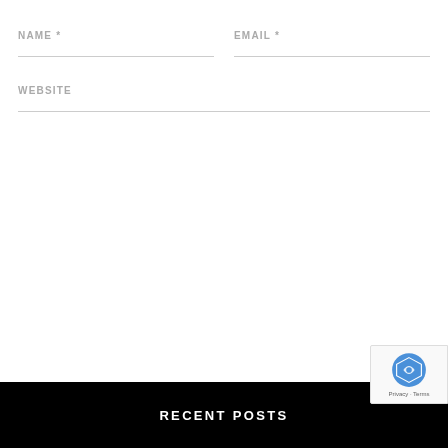NAME *
EMAIL *
WEBSITE
Post Comment
Search ...
Search
RECENT POSTS